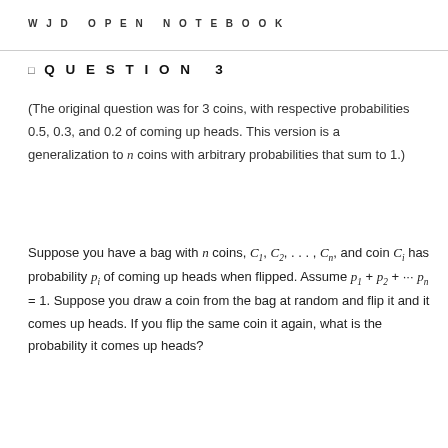WJD OPEN NOTEBOOK
◻ QUESTION 3
(The original question was for 3 coins, with respective probabilities 0.5, 0.3, and 0.2 of coming up heads. This version is a generalization to n coins with arbitrary probabilities that sum to 1.)
Suppose you have a bag with n coins, C₁, C₂, . . . , Cₙ, and coin Cᵢ has probability pᵢ of coming up heads when flipped. Assume p₁ + p₂ + ⋯ pₙ = 1. Suppose you draw a coin from the bag at random and flip it and it comes up heads. If you flip the same coin it again, what is the probability it comes up heads?